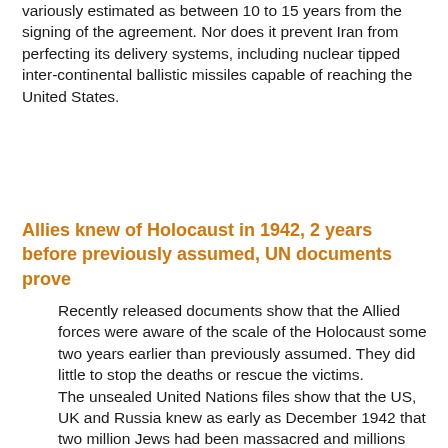variously estimated as between 10 to 15 years from the signing of the agreement. Nor does it prevent Iran from perfecting its delivery systems, including nuclear tipped inter-continental ballistic missiles capable of reaching the United States.
Allies knew of Holocaust in 1942, 2 years before previously assumed, UN documents prove
Recently released documents show that the Allied forces were aware of the scale of the Holocaust some two years earlier than previously assumed. They did little to stop the deaths or rescue the victims. The unsealed United Nations files show that the US, UK and Russia knew as early as December 1942 that two million Jews had been massacred and millions more were at risk of being killed, Britain's Independent newspaper reported on Tuesday.